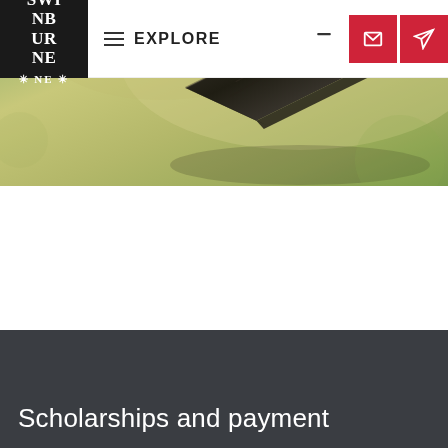[Figure (logo): Swinburne University logo — white text on black background reading SWI NB UR NE with asterisks]
≡  EXPLORE
[Figure (photo): Close-up of a graduation mortarboard cap with orange trim against a blurred green background]
Scholarships and payment